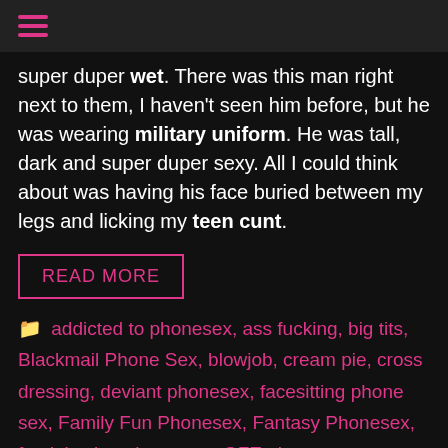≡ (hamburger menu icon)
super duper wet.  There was this man right next to them, I haven't seen him before, but he was wearing military uniform.  He was tall, dark and super duper sexy.  All I could think about was having his face buried between my legs and licking my teen cunt.
READ MORE
📁 addicted to phonesex, ass fucking, big tits, Blackmail Phone Sex, blowjob, cream pie, cross dressing, deviant phonesex, facesitting phone sex, Family Fun Phonesex, Fantasy Phonesex, feminization phone sex, GFE phonesex, hardcore dominatio...ky Phonesex Teen